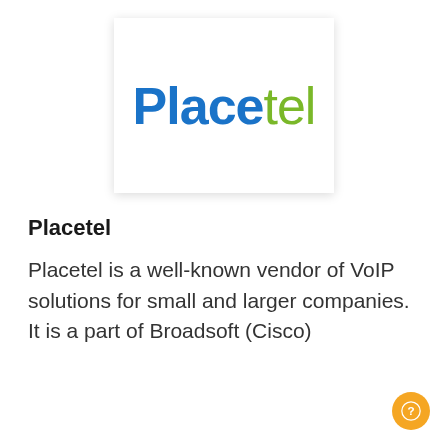[Figure (logo): Placetel logo: 'Place' in bold blue and 'tel' in green, displayed in a white box with a subtle shadow]
Placetel
Placetel is a well-known vendor of VoIP solutions for small and larger companies. It is a part of Broadsoft (Cisco)